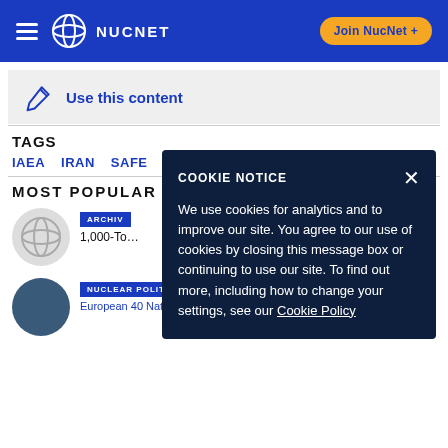NUCNET | Join NucNet +
Use this content
TAGS
IAEA  IRAN  SAFEGUARDS
MOST POPULAR
ARCHIVE
1,000-To…
NUCLEAR POLITICS
European 40 Nation Nuclear Alliance Wants To…
COOKIE NOTICE
We use cookies for analytics and to improve our site. You agree to our use of cookies by closing this message box or continuing to use our site. To find out more, including how to change your settings, see our Cookie Policy